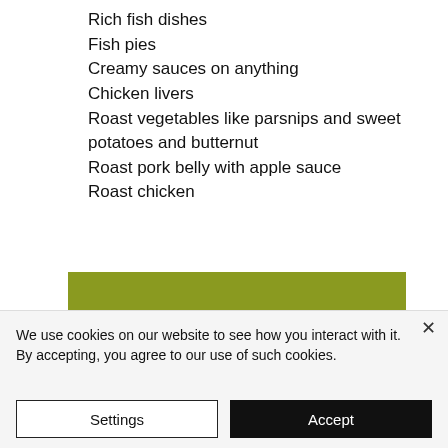Rich fish dishes
Fish pies
Creamy sauces on anything
Chicken livers
Roast vegetables like parsnips and sweet potatoes and butternut
Roast pork belly with apple sauce
Roast chicken
[Figure (photo): Olive-green/khaki colored image, partially visible, with a small teal/turquoise shape at bottom right]
We use cookies on our website to see how you interact with it. By accepting, you agree to our use of such cookies.
Settings
Accept